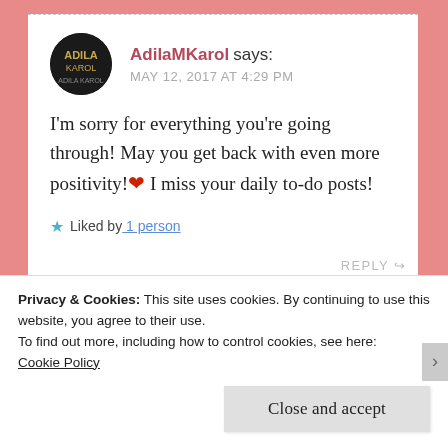AdilaMKarol says: MAY 12, 2017 AT 4:29 PM
I'm sorry for everything you're going through! May you get back with even more positivity! ❤ I miss your daily to-do posts!
★ Liked by 1 person
REPLY
Privacy & Cookies: This site uses cookies. By continuing to use this website, you agree to their use.
To find out more, including how to control cookies, see here:
Cookie Policy
Close and accept